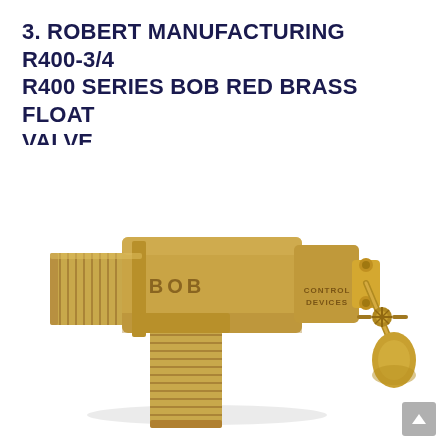3. ROBERT MANUFACTURING R400-3/4 R400 SERIES BOB RED BRASS FLOAT VALVE
[Figure (photo): Photograph of a golden/brass colored Robert Manufacturing R400-3/4 BOB Red Brass Float Valve showing threaded male pipe fittings in an L-shape configuration with 'BOB' and 'CONTROL DEVICES' engraved on the body, and a float arm mechanism with adjustment wheel on the right side.]